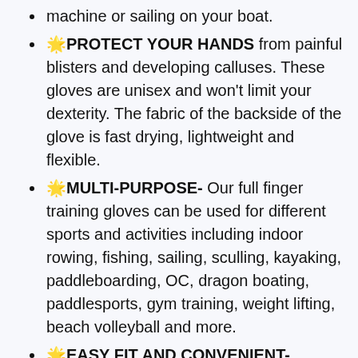machine or sailing on your boat.
🌟PROTECT YOUR HANDS from painful blisters and developing calluses. These gloves are unisex and won't limit your dexterity. The fabric of the backside of the glove is fast drying, lightweight and flexible.
🌟MULTI-PURPOSE- Our full finger training gloves can be used for different sports and activities including indoor rowing, fishing, sailing, sculling, kayaking, paddleboarding, OC, dragon boating, paddlesports, gym training, weight lifting, beach volleyball and more.
🌟EASY FIT AND CONVENIENT- Convenient velcro adjustment and fits easily in paddle bags or Personal Flotation Devices (PFD)s
🌟100% MONEY-BACK GUARANTEE -